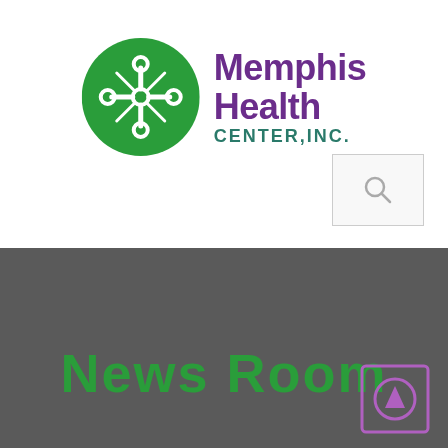[Figure (logo): Memphis Health Center, Inc. logo — green circle with white cross/knot symbol, purple bold text 'Memphis Health' and dark teal 'CENTER,INC.']
[Figure (other): Search icon (magnifying glass) inside a light gray bordered box in the upper right area]
News Room
[Figure (other): Purple-outlined square button with a purple circle containing an upward-pointing arrow, bottom right corner]